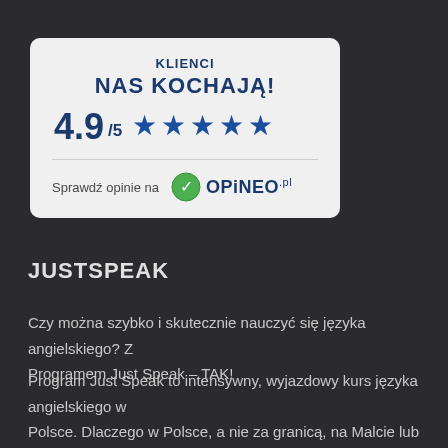[Figure (infographic): Rating card with 'KLIENCI NAS KOCHAJĄ!' heading, score 4.9/5 with 5 blue stars, and Opineo.pl logo with 'Sprawdź opinie na' text]
JUSTSPEAK
Czy można szybko i skutecznie nauczyć się języka angielskiego? Z Programem Just Speak – TAK!
Program Just Speak to intensywny, wyjazdowy kurs języka angielskiego w Polsce. Dlaczego w Polsce, a nie za granicą, na Malcie lub w Londynie? Bo w Polsce znaleźliśmy miejsca oferujące doskonałe warunki do nauki i